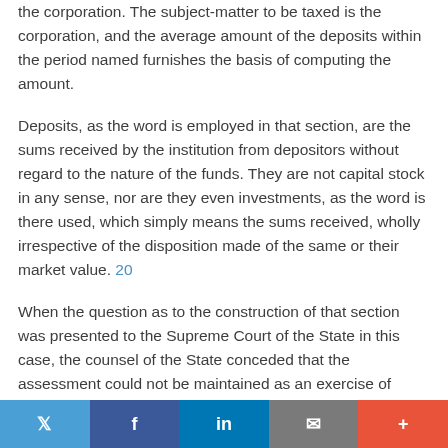the corporation. The subject-matter to be taxed is the corporation, and the average amount of the deposits within the period named furnishes the basis of computing the amount.
Deposits, as the word is employed in that section, are the sums received by the institution from depositors without regard to the nature of the funds. They are not capital stock in any sense, nor are they even investments, as the word is there used, which simply means the sums received, wholly irrespective of the disposition made of the same or their market value. 20
When the question as to the construction of that section was presented to the Supreme Court of the State in this case, the counsel of the State conceded that the assessment could not be maintained as an exercise of power conferred by the State constitution to impose and levy proportional and
Twitter Facebook LinkedIn Email +